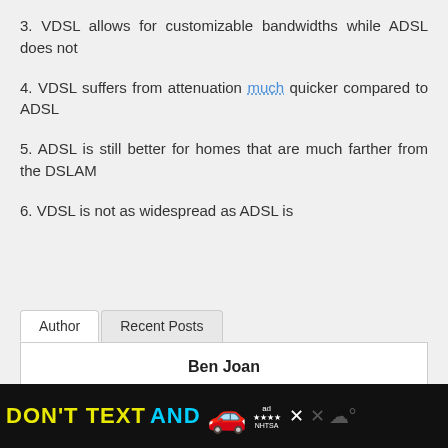3. VDSL allows for customizable bandwidths while ADSL does not
4. VDSL suffers from attenuation much quicker compared to ADSL
5. ADSL is still better for homes that are much farther from the DSLAM
6. VDSL is not as widespread as ADSL is
Author | Recent Posts
Ben Joan
[Figure (other): Advertisement banner: DON'T TEXT AND [car emoji] with ad badge and NHTSA logo on black background]